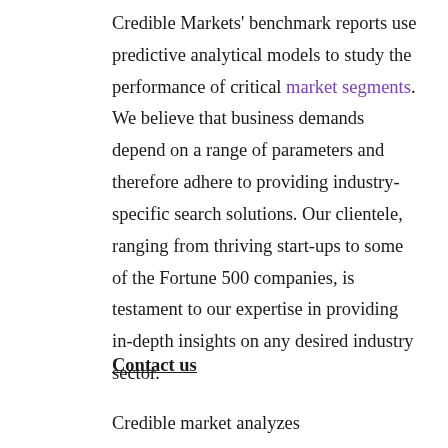Credible Markets' benchmark reports use predictive analytical models to study the performance of critical market segments. We believe that business demands depend on a range of parameters and therefore adhere to providing industry-specific search solutions. Our clientele, ranging from thriving start-ups to some of the Fortune 500 companies, is testament to our expertise in providing in-depth insights on any desired industry sector.
Contact us
Credible market analyzes